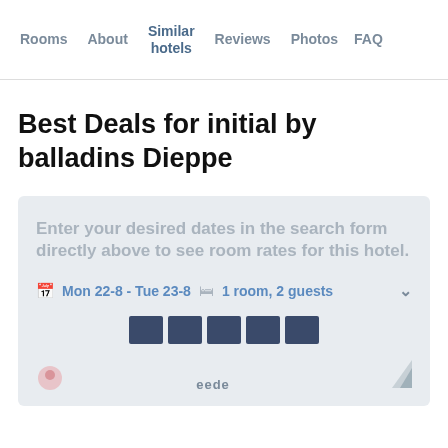Rooms | About | Similar hotels | Reviews | Photos | FAQ
Best Deals for initial by balladins Dieppe
Enter your desired dates in the search form directly above to see room rates for this hotel.
Mon 22-8 - Tue 23-8   1 room, 2 guests